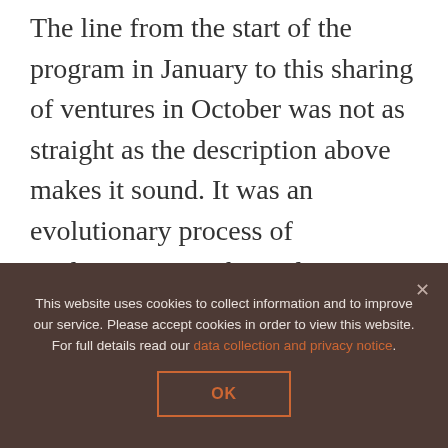The line from the start of the program in January to this sharing of ventures in October was not as straight as the description above makes it sound. It was an evolutionary process of exploration, insight, and experimentation led by Jennie Winhall, a remarkably talented service designer from London, UK. A past associate with Particple in London, Jennie is now the Social Innovation Associate at the Rockwool Foundation in Copenhagen. The Banff Centre asked Jennie to design and lead
This website uses cookies to collect information and to improve our service. Please accept cookies in order to view this website. For full details read our data collection and privacy notice.
OK